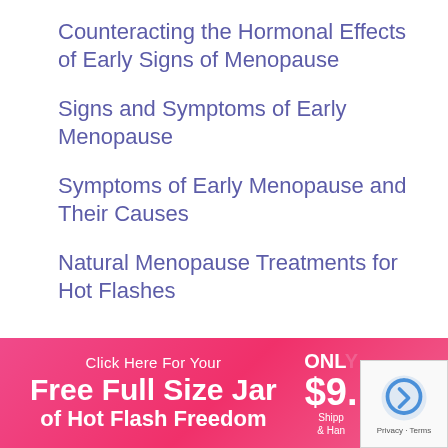Counteracting the Hormonal Effects of Early Signs of Menopause
Signs and Symptoms of Early Menopause
Symptoms of Early Menopause and Their Causes
Natural Menopause Treatments for Hot Flashes
Click Here For Your Free Full Size Jar of Hot Flash Freedom ONLY $9. Shipping & Handling